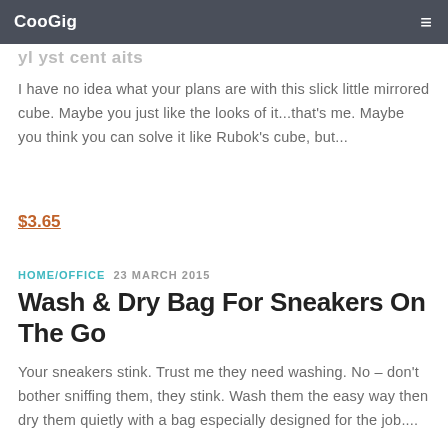CooGig
…yl yst cent aits
I have no idea what your plans are with this slick little mirrored cube. Maybe you just like the looks of it...that's me. Maybe you think you can solve it like Rubok's cube, but...
$3.65
HOME/OFFICE  23 MARCH 2015
Wash & Dry Bag For Sneakers On The Go
Your sneakers stink. Trust me they need washing. No – don't bother sniffing them, they stink. Wash them the easy way then dry them quietly with a bag especially designed for the job....